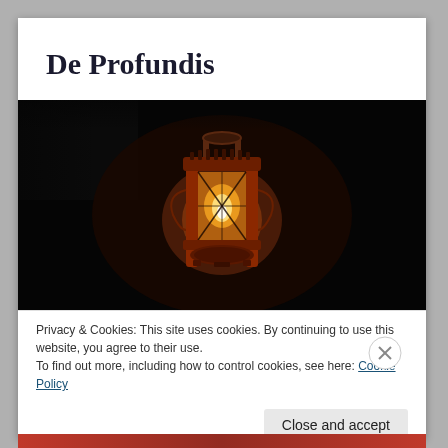De Profundis
[Figure (photo): A vintage kerosene/oil lantern glowing with a warm flame against a very dark, nearly black background. The lantern has a reddish-orange metal frame and a glass enclosure with visible wire cross supports. The light source is centered and creates a bokeh-like warm glow.]
Privacy & Cookies: This site uses cookies. By continuing to use this website, you agree to their use.
To find out more, including how to control cookies, see here: Cookie Policy
Close and accept